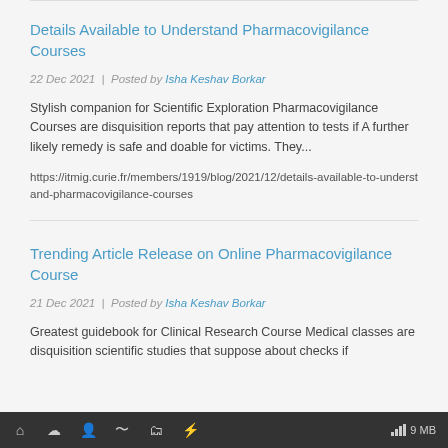Details Available to Understand Pharmacovigilance Courses
22 Dec 2021  |  Posted by Isha Keshav Borkar
Stylish companion for Scientific Exploration Pharmacovigilance Courses are disquisition reports that pay attention to tests if A further likely remedy is safe and doable for victims. They...
https://itmig.curie.fr/members/1919/blog/2021/12/details-available-to-understand-pharmacovigilance-courses
Trending Article Release on Online Pharmacovigilance Course
21 Dec 2021  |  Posted by Isha Keshav Borkar
Greatest guidebook for Clinical Research Course Medical classes are disquisition scientific studies that suppose about checks if